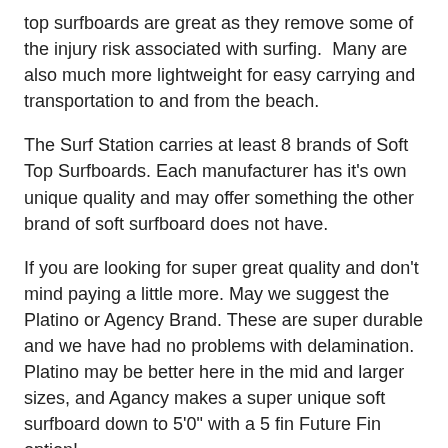top surfboards are great as they remove some of the injury risk associated with surfing.  Many are also much more lightweight for easy carrying and transportation to and from the beach.
The Surf Station carries at least 8 brands of Soft Top Surfboards. Each manufacturer has it's own unique quality and may offer something the other brand of soft surfboard does not have.
If you are looking for super great quality and don't mind paying a little more. May we suggest the Platino or Agency Brand. These are super durable and we have had no problems with delamination. Platino may be better here in the mid and larger sizes, and Agancy makes a super unique soft surfboard down to 5'0" with a 5 fin Future Fin option!
Softtech has very good quality and a removable fin system. They are owned by FCS so it is a trusted name and of course comes with options of FCS fins, which most of the other